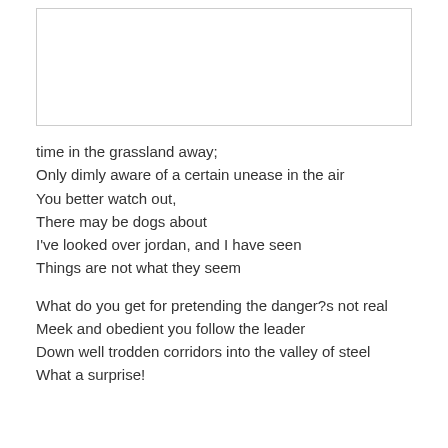[Figure (other): Blank white image placeholder with border]
time in the grassland away;
Only dimly aware of a certain unease in the air
You better watch out,
There may be dogs about
I've looked over jordan, and I have seen
Things are not what they seem

What do you get for pretending the danger?s not real
Meek and obedient you follow the leader
Down well trodden corridors into the valley of steel
What a surprise!